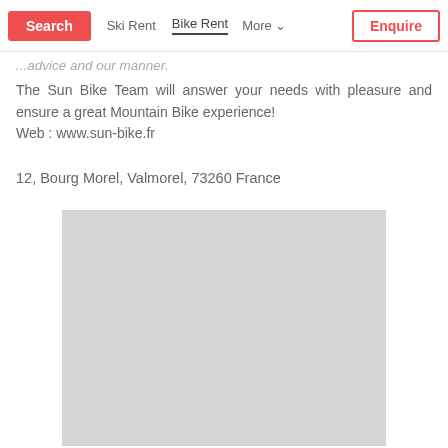Search | Ski Rent | Bike Rent | More | Enquire
...advice and our manner.
The Sun Bike Team will answer your needs with pleasure and ensure a great Mountain Bike experience!
Web : www.sun-bike.fr
12, Bourg Morel, Valmorel, 73260 France
[Figure (map): Gray placeholder map image of the location]